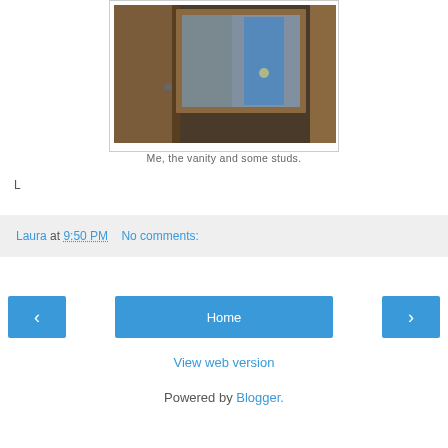[Figure (photo): A person in a blue shirt holding or standing near a wooden-framed vanity mirror, photographed in what appears to be a construction/renovation setting with wooden studs visible.]
Me, the vanity and some studs.
L
Laura at 9:50 PM    No comments:
Home
View web version
Powered by Blogger.